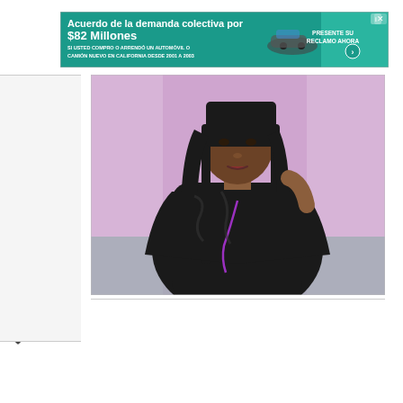[Figure (screenshot): Advertisement banner in teal/green color with Spanish text 'Acuerdo de la demanda colectiva por $82 Millones' and smaller text 'SI USTED COMPRO O ARRENDÓ UN AUTOMÓVIL O CAMIÓN NUEVO EN CALIFORNIA DESDE 2001 A 2003', with a car image and 'PRESENTE SU RECLAMO AHORA' call-to-action button]
[Figure (photo): A Black woman with long straight dark hair, wearing a black sleeveless top, seated in a studio setting with a purple/pink brick wall background, appearing to be on a talk show or interview set]